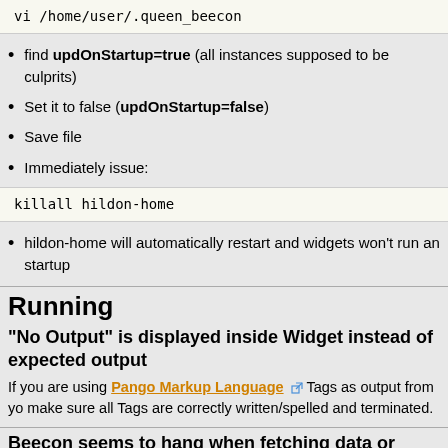[Figure (screenshot): Code block showing: vi /home/user/.queen_beecon]
find updOnStartup=true (all instances supposed to be culprits)
Set it to false (updOnStartup=false)
Save file
Immediately issue:
[Figure (screenshot): Code block showing: killall hildon-home]
hildon-home will automatically restart and widgets won't run an startup
Running
"No Output" is displayed inside Widget instead of expected output
If you are using Pango Markup Language Tags as output from yo make sure all Tags are correctly written/spelled and terminated.
Beecon seems to hang when fetching data or acces the Internet/Network